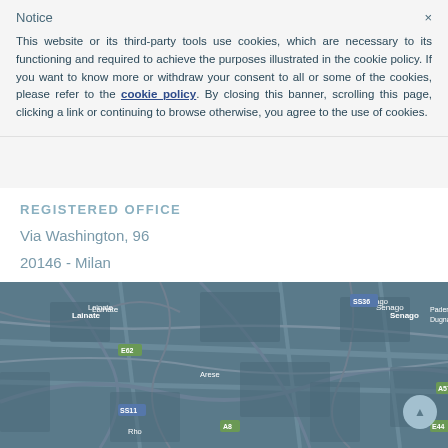Notice
This website or its third-party tools use cookies, which are necessary to its functioning and required to achieve the purposes illustrated in the cookie policy. If you want to know more or withdraw your consent to all or some of the cookies, please refer to the cookie policy. By closing this banner, scrolling this page, clicking a link or continuing to browse otherwise, you agree to the use of cookies.
REGISTERED OFFICE
Via Washington, 96
20146 - Milan
Italy
[Figure (map): Map showing the Milan metropolitan area including locations: Lainate, Senago, Paderno Dugnano, Cinisello Balsamo, Cusano Milanino, Arese, Bresso, Sesto San Giovanni, Rho, Cologno. Road labels visible: E62, SS36, A57, A52, SS11, A8, E44.]